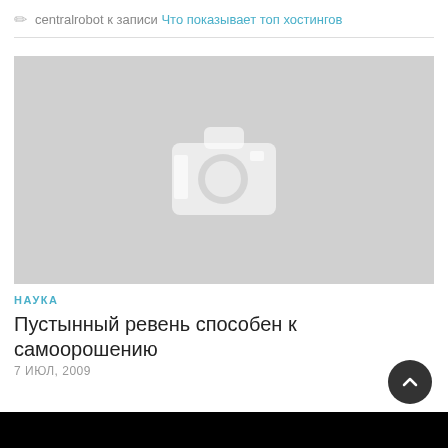centralrobot к записи Что показывает топ хостингов
[Figure (photo): Placeholder image with a camera icon on a grey background]
НАУКА
Пустынный ревень способен к самоорошению
7 ИЮЛ, 2009